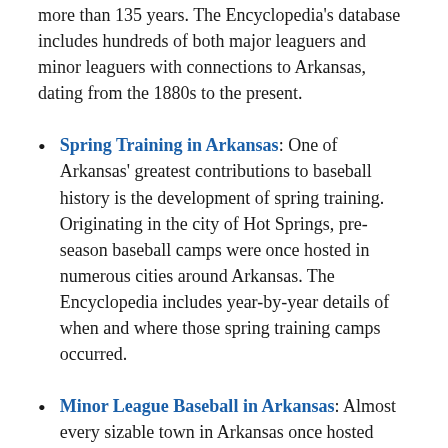more than 135 years. The Encyclopedia's database includes hundreds of both major leaguers and minor leaguers with connections to Arkansas, dating from the 1880s to the present.
Spring Training in Arkansas: One of Arkansas' greatest contributions to baseball history is the development of spring training. Originating in the city of Hot Springs, pre-season baseball camps were once hosted in numerous cities around Arkansas. The Encyclopedia includes year-by-year details of when and where those spring training camps occurred.
Minor League Baseball in Arkansas: Almost every sizable town in Arkansas once hosted minor league baseball, and some parts of the states even had